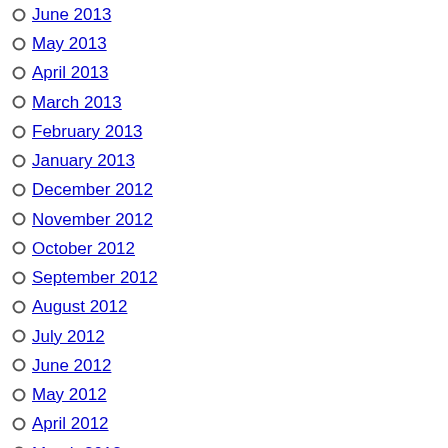June 2013
May 2013
April 2013
March 2013
February 2013
January 2013
December 2012
November 2012
October 2012
September 2012
August 2012
July 2012
June 2012
May 2012
April 2012
March 2012
February 2012
January 2012
December 2011
November 2011
October 2011
September 2011
August 2011
July 2011
June 2011